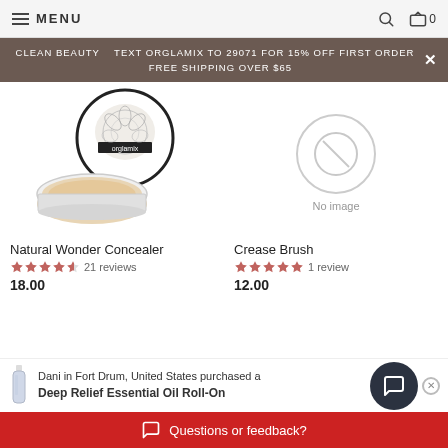MENU
CLEAN BEAUTY   TEXT ORGLAMIX TO 29071 FOR 15% OFF FIRST ORDER   FREE SHIPPING OVER $65
[Figure (photo): Orglamix Natural Wonder Concealer product image - compact with beige concealer and floral branded lid]
Natural Wonder Concealer
★★★★½ 21 reviews
18.00
[Figure (photo): No image placeholder circle with slash]
Crease Brush
★★★★★ 1 review
12.00
Dani in Fort Drum, United States purchased a Deep Relief Essential Oil Roll-On
Questions or feedback?